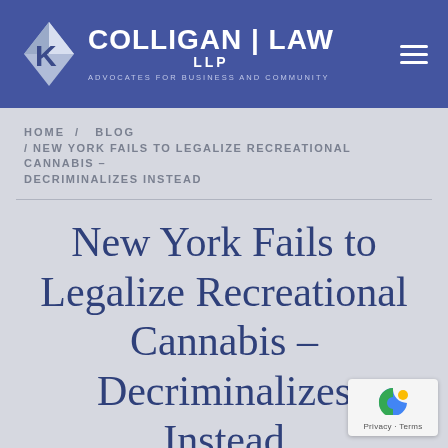COLLIGAN LAW LLP — ADVOCATES FOR BUSINESS AND COMMUNITY
HOME / BLOG / NEW YORK FAILS TO LEGALIZE RECREATIONAL CANNABIS – DECRIMINALIZES INSTEAD
New York Fails to Legalize Recreational Cannabis – Decriminalizes Instead